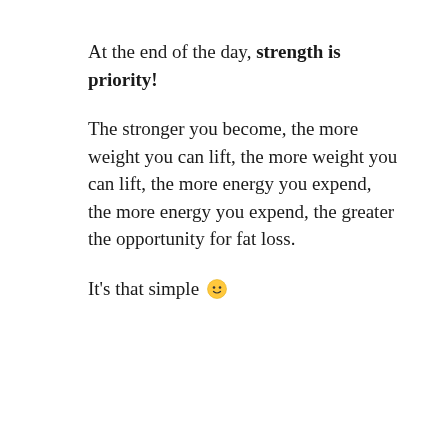At the end of the day, strength is priority!
The stronger you become, the more weight you can lift, the more weight you can lift, the more energy you expend, the more energy you expend, the greater the opportunity for fat loss.
It's that simple 🙂